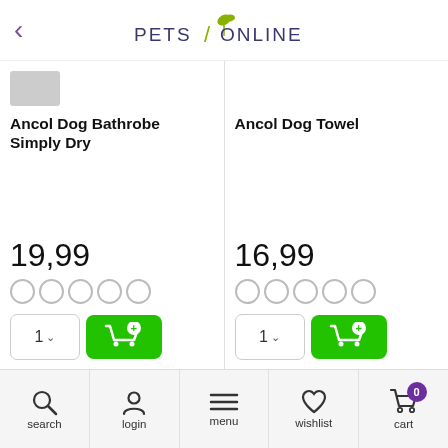PETS ONLINE
Ancol Dog Bathrobe Simply Dry
19,99
Ancol Dog Towel
16,99
[Figure (photo): Dog sniffing a blue cooling mat on orange background]
[Figure (photo): Person in coral shirt with a shoulder bag]
search  login  menu  wishlist  cart 0